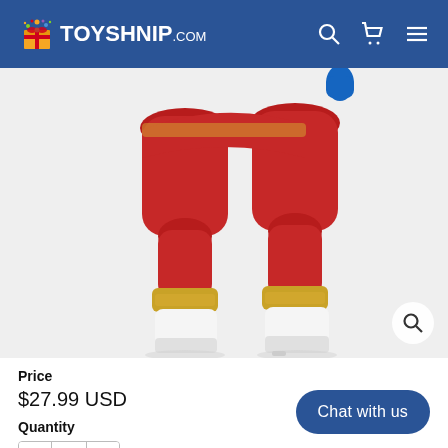TOYSHNIP.com
[Figure (photo): Lower half of a red action figure with gold cuffs and white boots, legs spread apart, on a white background.]
Price
$27.99 USD
Quantity
- 1 +
Chat with us